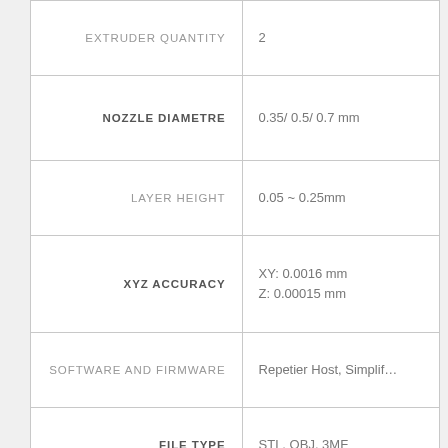| Specification | Value |
| --- | --- |
| EXTRUDER QUANTITY | 2 |
| NOZZLE DIAMETRE | 0.35/ 0.5/ 0.7 mm |
| LAYER HEIGHT | 0.05 ~ 0.25mm |
| XYZ ACCURACY | XY: 0.0016 mm
Z: 0.00015 mm |
| SOFTWARE AND FIRMWARE | Repetier Host, Simplif… |
| FILE TYPE | STL, OBJ, 3MF |
| OPERATING SYSTEMS | Windows 7/ 8/ 10
Mac OS X
Linux |
| BUILT-IN CAMERA | Yes |
| INTERNAL STORAGE | 16 GB |